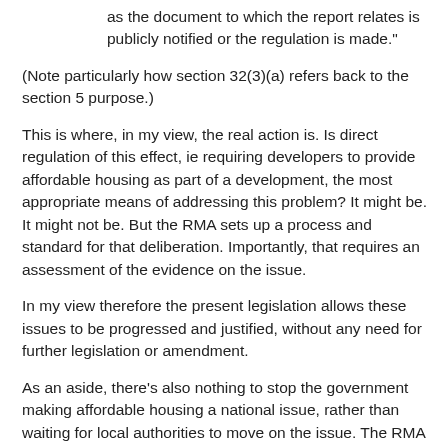as the document to which the report relates is publicly notified or the regulation is made."
(Note particularly how section 32(3)(a) refers back to the section 5 purpose.)
This is where, in my view, the real action is. Is direct regulation of this effect, ie requiring developers to provide affordable housing as part of a development, the most appropriate means of addressing this problem? It might be. It might not be. But the RMA sets up a process and standard for that deliberation. Importantly, that requires an assessment of the evidence on the issue.
In my view therefore the present legislation allows these issues to be progressed and justified, without any need for further legislation or amendment.
As an aside, there's also nothing to stop the government making affordable housing a national issue, rather than waiting for local authorities to move on the issue. The RMA contemplates the expression of national priorities through National Policy Statements. This has a flow-on effect into